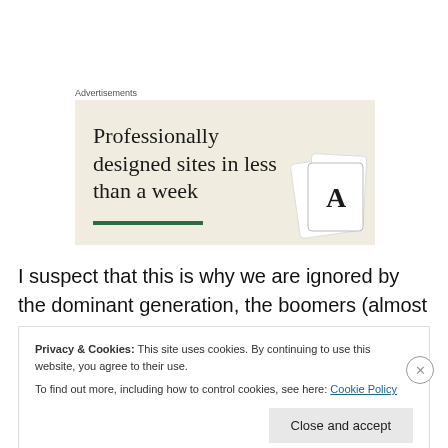Advertisements
[Figure (illustration): Advertisement banner with beige background showing text 'Professionally designed sites in less than a week' with a green underline bar and card design elements in the corner]
I suspect that this is why we are ignored by the dominant generation, the boomers (almost all seats of power in the
Privacy & Cookies: This site uses cookies. By continuing to use this website, you agree to their use.
To find out more, including how to control cookies, see here: Cookie Policy
Close and accept